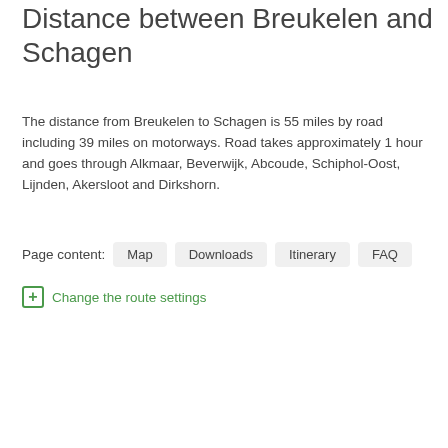Distance between Breukelen and Schagen
The distance from Breukelen to Schagen is 55 miles by road including 39 miles on motorways. Road takes approximately 1 hour and goes through Alkmaar, Beverwijk, Abcoude, Schiphol-Oost, Lijnden, Akersloot and Dirkshorn.
Page content: Map  Downloads  Itinerary  FAQ
⊞ Change the route settings
|  |  |
| --- | --- |
| Shortest distance by air | 43 mi → |
| Car route length | 55.3 mi 🚗 |
| Driving time | 1 h |
| Fuel amount | 1.9 gal |